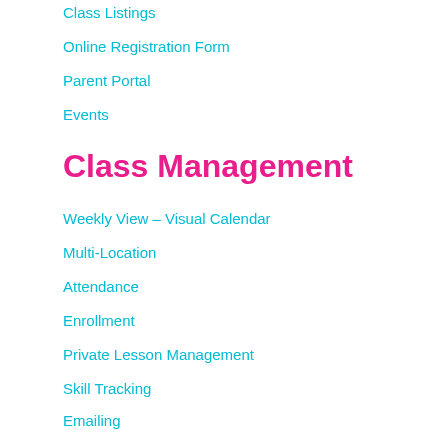Class Listings
Online Registration Form
Parent Portal
Events
Class Management
Weekly View – Visual Calendar
Multi-Location
Attendance
Enrollment
Private Lesson Management
Skill Tracking
Emailing
Prospect Management
Time Clock